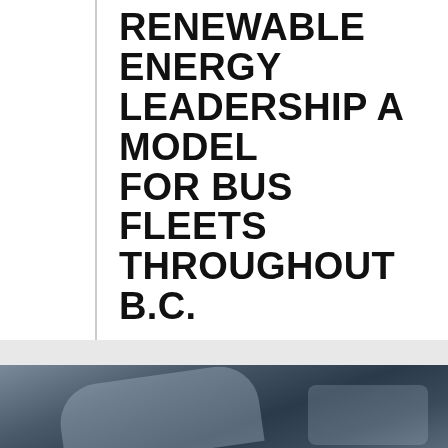RENEWABLE ENERGY LEADERSHIP A MODEL FOR BUS FLEETS THROUGHOUT B.C.
If TransLink's precedent-setting work can be leveraged, we have an opportunity to cut costs and pollution in communities throughout B.C.
READ MORE →
[Figure (photo): Interior/mechanical view of a bus, showing metallic components, cables, and structural elements in a maintenance or inspection context.]